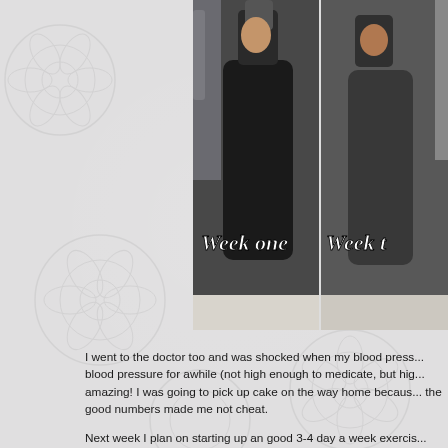[Figure (photo): Two side-by-side bathroom mirror selfie photos showing a person's midsection, labeled 'Week one' and 'Week t...' (Week two/three cropped). The photos show progress on a diet.]
I went to the doctor too and was shocked when my blood press... blood pressure for awhile (not high enough to medicate, but hig... amazing! I was going to pick up cake on the way home becaus... the good numbers made me not cheat.
Next week I plan on starting up an good 3-4 day a week exercis... paleo diet as well. I've already noticed an improvement in my b...
[Figure (infographic): A row of social sharing icons: email forward, Gmail, Blogger, Twitter, Facebook, Pinterest]
Labels: paleo